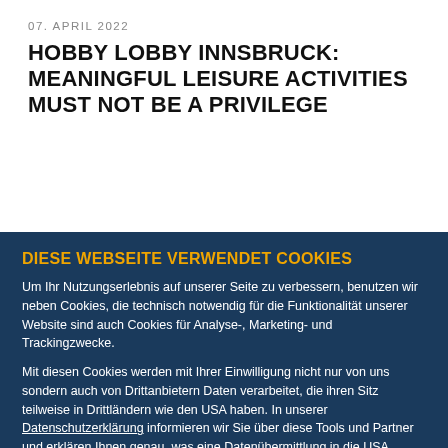07. APRIL 2022
HOBBY LOBBY INNSBRUCK: MEANINGFUL LEISURE ACTIVITIES MUST NOT BE A PRIVILEGE
DIESE WEBSEITE VERWENDET COOKIES
Um Ihr Nutzungserlebnis auf unserer Seite zu verbessern, benutzen wir neben Cookies, die technisch notwendig für die Funktionalität unserer Website sind auch Cookies für Analyse-, Marketing- und Trackingzwecke.
Mit diesen Cookies werden mit Ihrer Einwilligung nicht nur von uns sondern auch von Drittanbietern Daten verarbeitet, die ihren Sitz teilweise in Drittländern wie den USA haben. In unserer Datenschutzerklärung informieren wir Sie über diese Tools und Partner und erklären Ihnen genau, was eine Datenübermittlung in die USA bedeuten kann.
Ablehnen | Alle zulassen | Details zeigen